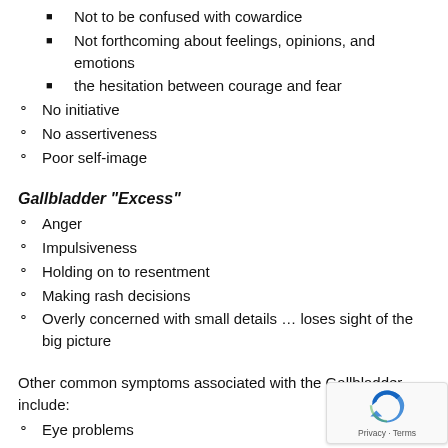Not to be confused with cowardice
Not forthcoming about feelings, opinions, and emotions
the hesitation between courage and fear
No initiative
No assertiveness
Poor self-image
Gallbladder "Excess"
Anger
Impulsiveness
Holding on to resentment
Making rash decisions
Overly concerned with small details … loses sight of the big picture
Other common symptoms associated with the Gallbladder include:
Eye problems
Painful
Itchy
Red